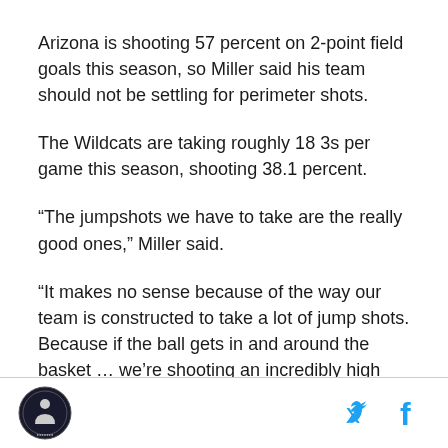Arizona is shooting 57 percent on 2-point field goals this season, so Miller said his team should not be settling for perimeter shots.
The Wildcats are taking roughly 18 3s per game this season, shooting 38.1 percent.
“The jumpshots we have to take are the really good ones,” Miller said.
“It makes no sense because of the way our team is constructed to take a lot of jump shots. Because if the ball gets in and around the basket … we’re shooting an incredibly high percentage. And we get fouled and we’re a good free throw shooting team.”
[Figure (logo): Circular logo with a figure in the center, dark background with text around the edge]
[Figure (other): Twitter bird icon in cyan blue and Facebook f icon in cyan blue]